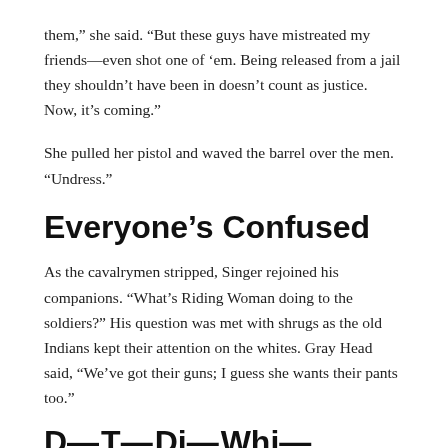them,” she said. “But these guys have mistreated my friends—even shot one of ’em. Being released from a jail they shouldn’t have been in doesn’t count as justice. Now, it’s coming.”
She pulled her pistol and waved the barrel over the men. “Undress.”
Everyone’s Confused
As the cavalrymen stripped, Singer rejoined his companions. “What’s Riding Woman doing to the soldiers?” His question was met with shrugs as the old Indians kept their attention on the whites. Gray Head said, “We’ve got their guns; I guess she wants their pants too.”
D— T— Di— Whi—